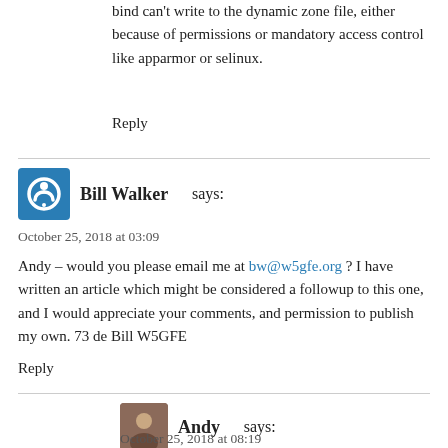bind can't write to the dynamic zone file, either because of permissions or mandatory access control like apparmor or selinux.
Reply
Bill Walker says:
October 25, 2018 at 03:09
Andy – would you please email me at bw@w5gfe.org ? I have written an article which might be considered a followup to this one, and I would appreciate your comments, and permission to publish my own. 73 de Bill W5GFE
Reply
Andy says:
October 25, 2018 at 08:19